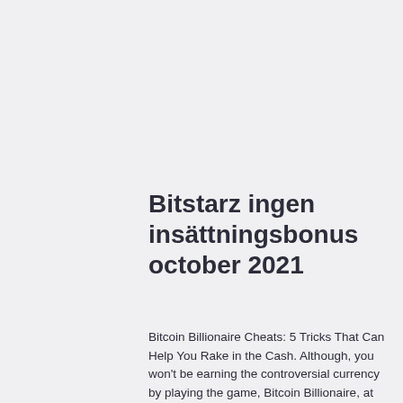Bitstarz ingen insättningsbonus october 2021
Bitcoin Billionaire Cheats: 5 Tricks That Can Help You Rake in the Cash. Although, you won't be earning the controversial currency by playing the game, Bitcoin Billionaire, at the very least, allows you to become rich beyond your wildest dreams in an in-game setting. As developer Noodlecake describes it, you'll be starting with 'almost nothing,'